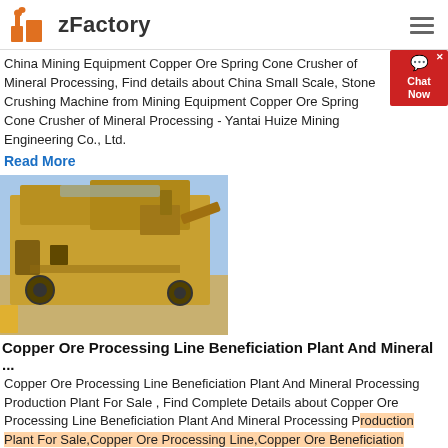zFactory
China Mining Equipment Copper Ore Spring Cone Crusher of Mineral Processing, Find details about China Small Scale, Stone Crushing Machine from Mining Equipment Copper Ore Spring Cone Crusher of Mineral Processing - Yantai Huize Mining Engineering Co., Ltd.
Read More
[Figure (photo): Large yellow mining equipment / cone crusher machine photographed outdoors in an arid/desert landscape under a blue sky.]
Copper Ore Processing Line Beneficiation Plant And Mineral ...
Copper Ore Processing Line Beneficiation Plant And Mineral Processing Production Plant For Sale , Find Complete Details about Copper Ore Processing Line Beneficiation Plant And Mineral Processing Production Plant For Sale,Copper Ore Processing Line,Copper Ore Beneficiation Plant,Copper Ore Mineral Processing Production Plant from Mineral Separator Supplier or Manufacturer-Shandong